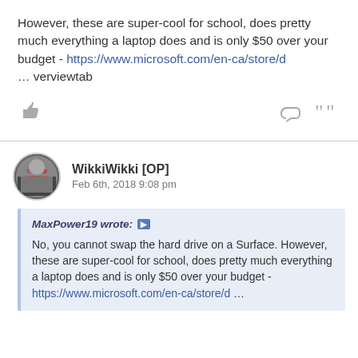However, these are super-cool for school, does pretty much everything a laptop does and is only $50 over your budget - https://www.microsoft.com/en-ca/store/d … verviewtab
WikkiWikki [OP]
Feb 6th, 2018 9:08 pm
MaxPower19 wrote: No, you cannot swap the hard drive on a Surface. However, these are super-cool for school, does pretty much everything a laptop does and is only $50 over your budget - https://www.microsoft.com/en-ca/store/d …